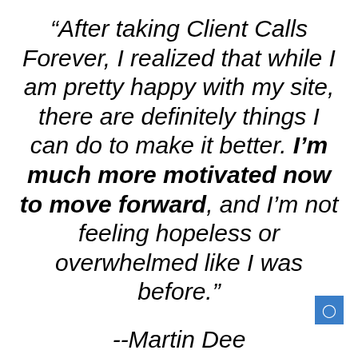“After taking Client Calls Forever, I realized that while I am pretty happy with my site, there are definitely things I can do to make it better. I'm much more motivated now to move forward, and I'm not feeling hopeless or overwhelmed like I was before.”
--Martin Dee